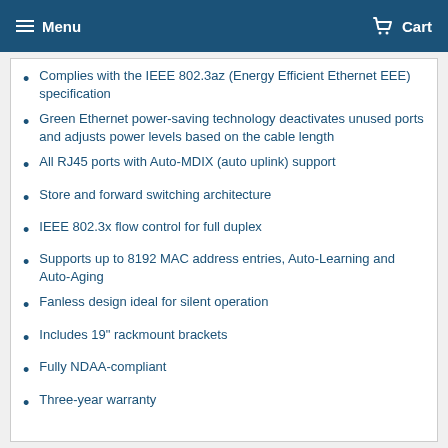Menu  Cart
Complies with the IEEE 802.3az (Energy Efficient Ethernet EEE) specification
Green Ethernet power-saving technology deactivates unused ports and adjusts power levels based on the cable length
All RJ45 ports with Auto-MDIX (auto uplink) support
Store and forward switching architecture
IEEE 802.3x flow control for full duplex
Supports up to 8192 MAC address entries, Auto-Learning and Auto-Aging
Fanless design ideal for silent operation
Includes 19" rackmount brackets
Fully NDAA-compliant
Three-year warranty